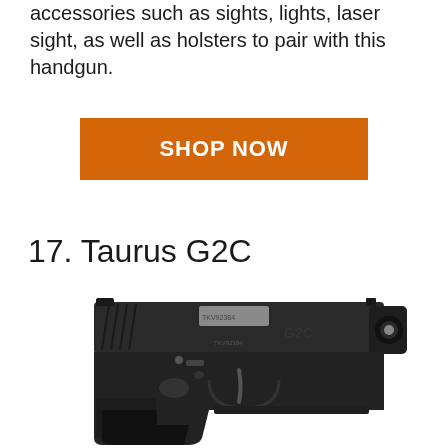accessories such as sights, lights, laser sight, as well as holsters to pair with this handgun.
SHOP NOW
17. Taurus G2C
[Figure (photo): Side profile photo of a Taurus G2C black semi-automatic handgun facing right, showing slide with serial number TKV92384, G2C markings, textured grip, and muzzle]